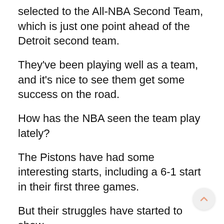selected to the All-NBA Second Team, which is just one point ahead of the Detroit second team.
They've been playing well as a team, and it's nice to see them get some success on the road.
How has the NBA seen the team play lately?
The Pistons have had some interesting starts, including a 6-1 start in their first three games.
But their struggles have started to show